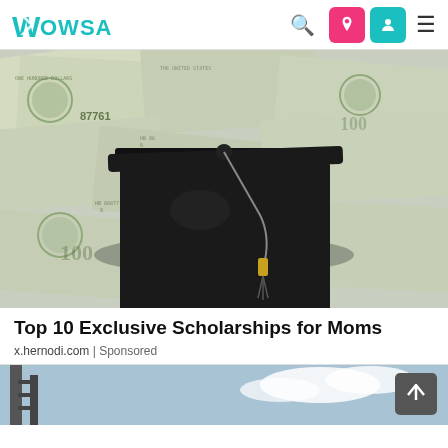Wowsa
[Figure (photo): Graduation cap (mortarboard) resting on a spread of US $100 dollar bills, symbolizing scholarships and educational funding.]
Top 10 Exclusive Scholarships for Moms
x.hernodi.com | Sponsored
[Figure (photo): Partial view of a second article image showing a sky and structural element, partially visible at the bottom of the page.]